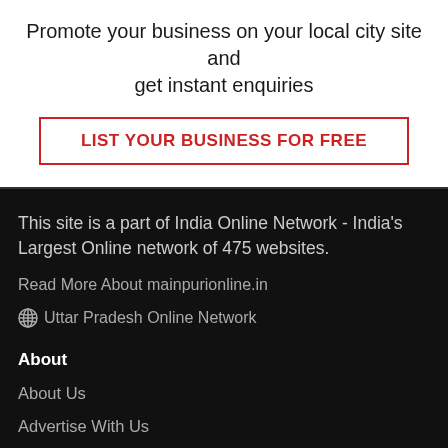Promote your business on your local city site and get instant enquiries
LIST YOUR BUSINESS FOR FREE
This site is a part of India Online Network - India's Largest Online network of 475 websites.
Read More About mainpurionline.in
Uttar Pradesh Online Network
About
About Us
Advertise With Us